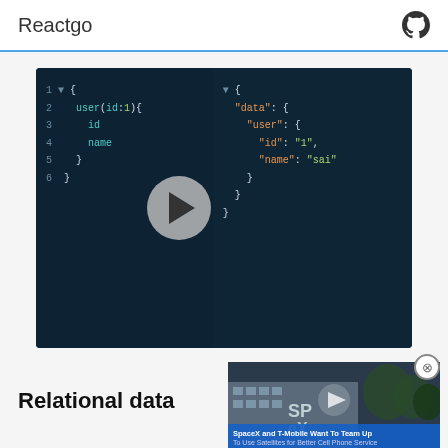Reactgo
[Figure (screenshot): Video thumbnail of a code editor showing a GraphQL query on the left (lines 1-6 with user(id:1) query fetching id and name) and JSON response on the right with data.user containing id:1 and name:sai. A play button is overlaid in the center.]
[Figure (screenshot): SpaceX building advertisement thumbnail with play button. Caption reads: SpaceX and T-Mobile Want To Team Up / To Use Satellites for Better Cell Phone Service]
Relational data